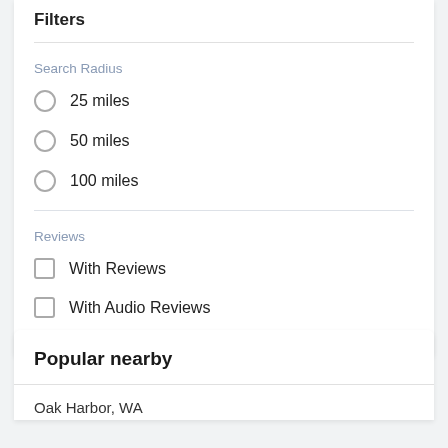Filters
Search Radius
25 miles
50 miles
100 miles
Reviews
With Reviews
With Audio Reviews
Popular nearby
Oak Harbor, WA